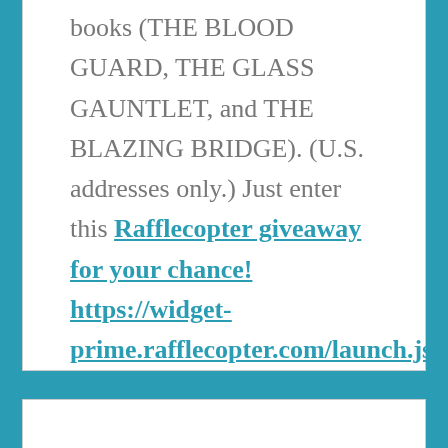books (THE BLOOD GUARD, THE GLASS GAUNTLET, and THE BLAZING BRIDGE). (U.S. addresses only.) Just enter this Rafflecopter giveaway for your chance! https://widget-prime.rafflecopter.com/launch.js